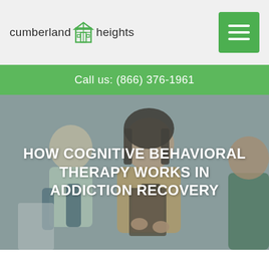cumberland heights
Call us: (866) 376-1961
[Figure (photo): Three people sitting in a therapy session; a woman with dark hair holding a clipboard appears to be a therapist speaking with two clients, overlaid with a semi-transparent grey tint.]
HOW COGNITIVE BEHAVIORAL THERAPY WORKS IN ADDICTION RECOVERY